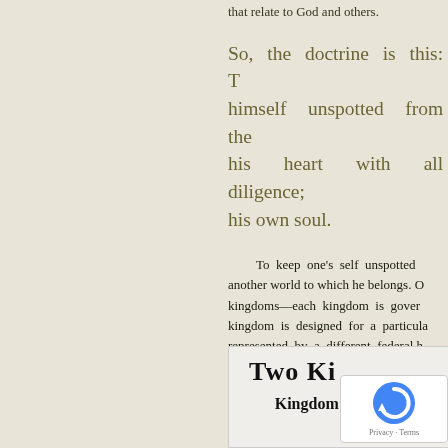that relate to God and others.
So, the doctrine is this: T... himself unspotted from the ... his heart with all diligence; his own soul.
To keep one's self unspotted another world to which he belongs. O kingdoms—each kingdom is gover kingdom is designed for a particula represented by a different federal h entered by a different birth; each ki law; each kingdom is restricted in its p is distinguished by a different cultu population; each kingdom is fitted for
[Figure (illustration): An illustration titled 'Two Ki...' with a section labeled 'Kingdom of W...' — partially visible at bottom of page with a reCAPTCHA overlay]